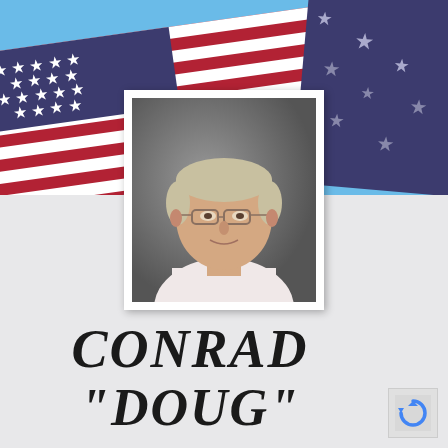[Figure (photo): American flag background banner across the top portion of the page]
[Figure (photo): Portrait photograph of an older man with gray/blonde hair and glasses, wearing a light pink/white shirt, set against a gray studio background. Photo has a white border/mat.]
CONRAD "DOUG"
[Figure (logo): reCAPTCHA logo icon in bottom right corner]